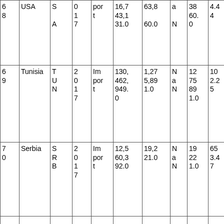| 6
8 | USA | S
A | 0
1
7 | por
t | 16,7
43,1
31.0 | 63,8
60.0 | a
N | 38
60.
0 | 4.4
4 |
| 6
9 | Tunisia | T
U
N | 2
0
1
7 | Im
por
t | 130,
462,
949.
0 | 1,27
5,89
1.0 | N
a
N | 12
75
89
1.0 | 10
2.2
5 |
| 7
0 | Serbia | S
R
B | 2
0
1
7 | Im
por
t | 12,5
60,3
92.0 | 19,2
21.0 | N
a
N | 19
22
1.0 | 65
3.4
7 |
|  |  |  |  |  |  |  |  |  |  |